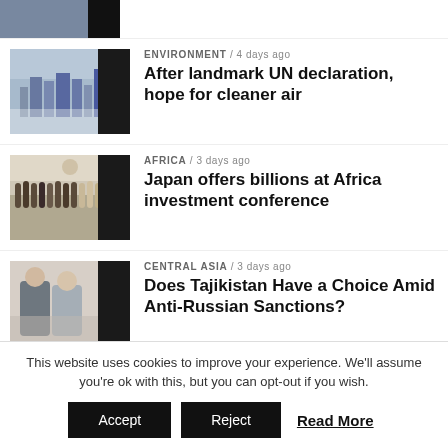[Figure (photo): Partial thumbnail of a city skyline with smog/haze, dark overlay on right]
[Figure (photo): Thumbnail of smoggy city skyline, misty blue tones]
ENVIRONMENT / 4 days ago
After landmark UN declaration, hope for cleaner air
[Figure (photo): Thumbnail of a group photo at an Africa investment conference]
AFRICA / 3 days ago
Japan offers billions at Africa investment conference
[Figure (photo): Thumbnail of two men in suits shaking hands, likely political figures]
CENTRAL ASIA / 3 days ago
Does Tajikistan Have a Choice Amid Anti-Russian Sanctions?
[Figure (photo): Dark thumbnail with red light streaks, science/technology theme]
SCIENCE & TECHNOLOGY / 3 days ago
Emerging Potential of Quantum
This website uses cookies to improve your experience. We'll assume you're ok with this, but you can opt-out if you wish.